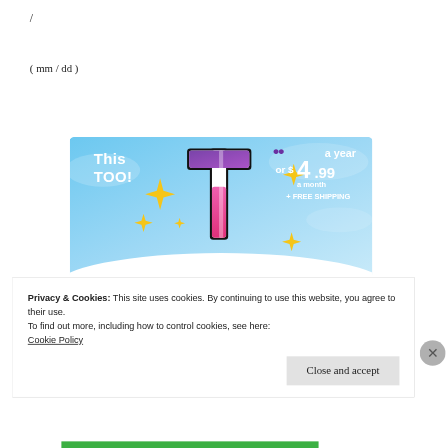/
( mm / dd )
[Figure (illustration): Tumblr advertisement banner showing a stylized 't' logo in pink/purple/white with yellow sparkles on a light blue sky background. Text reads 'TOO!' on the left side and pricing info on the right: '$4.99 a year or $4.99 a month + FREE SHIPPING']
Privacy & Cookies: This site uses cookies. By continuing to use this website, you agree to their use.
To find out more, including how to control cookies, see here:
Cookie Policy
Close and accept